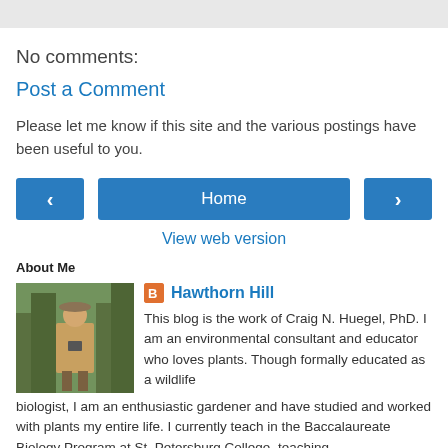No comments:
Post a Comment
Please let me know if this site and the various postings have been useful to you.
[Figure (screenshot): Navigation buttons: left arrow, Home, right arrow, and View web version link]
About Me
[Figure (photo): Photo of person outdoors with camera equipment among plants/trees]
Hawthorn Hill
This blog is the work of Craig N. Huegel, PhD. I am an environmental consultant and educator who loves plants. Though formally educated as a wildlife biologist, I am an enthusiastic gardener and have studied and worked with plants my entire life. I currently teach in the Baccalaureate Biology Program at St. Petersburg College, teaching